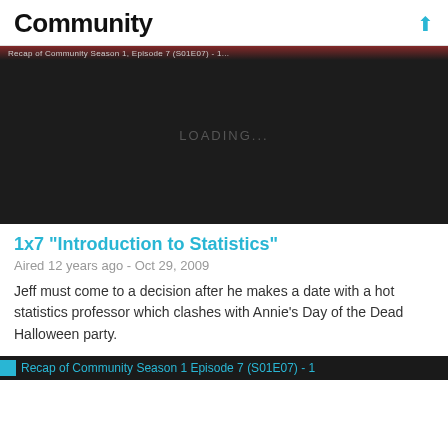Community
[Figure (screenshot): Dark video player with LOADING... text in center and a red-tinted navigation bar at the top showing episode info text]
1x7 "Introduction to Statistics"
Aired 12 years ago - Oct 29, 2009
Jeff must come to a decision after he makes a date with a hot statistics professor which clashes with Annie's Day of the Dead Halloween party.
Recap of Community Season 1 Episode 7 (S01E07) - 1